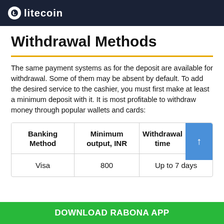Litecoin
Withdrawal Methods
The same payment systems as for the deposit are available for withdrawal. Some of them may be absent by default. To add the desired service to the cashier, you must first make at least a minimum deposit with it. It is most profitable to withdraw money through popular wallets and cards:
| Banking Method | Minimum output, INR | Withdrawal time |
| --- | --- | --- |
| Visa | 800 | Up to 7 days |
DOWNLOAD RABONA APP